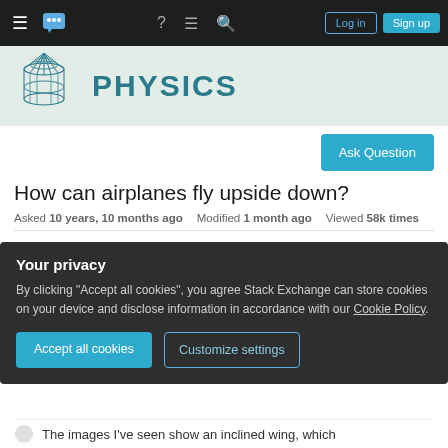Stack Exchange navigation bar with hamburger menu, logo, help, chat, search icons, Log in and Sign up buttons
[Figure (logo): Physics Stack Exchange banner with 3D cone mesh logo and PHYSICS text in teal]
Ask Question
How can airplanes fly upside down?
Asked 10 years, 10 months ago   Modified 1 month ago   Viewed 58k times
I've read many times, including here on this very site that
Your privacy
By clicking "Accept all cookies", you agree Stack Exchange can store cookies on your device and disclose information in accordance with our Cookie Policy.
Accept all cookies   Customize settings
The images I've seen show an inclined wing, which